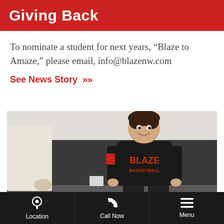Giving Back
To nominate a student for next years, “Blaze to Amaze,” please email, info@blazenw.com
See News Story »
[Figure (photo): A smiling young boy wearing a black Blaze Basketball t-shirt standing in a gymnasium, with a partial view of an adult in a white shirt on the left.]
Location | Call Now | Menu